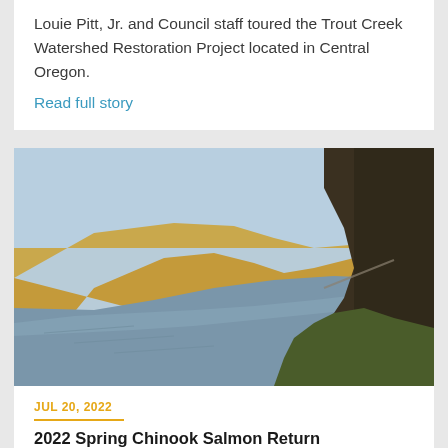Louie Pitt, Jr. and Council staff toured the Trout Creek Watershed Restoration Project located in Central Oregon.
Read full story
[Figure (photo): Landscape photo of a river canyon with golden brown hillsides and cliffs, a calm blue-grey river in the middle, and green vegetation in the foreground on the right side.]
JUL 20, 2022
2022 Spring Chinook Salmon Return